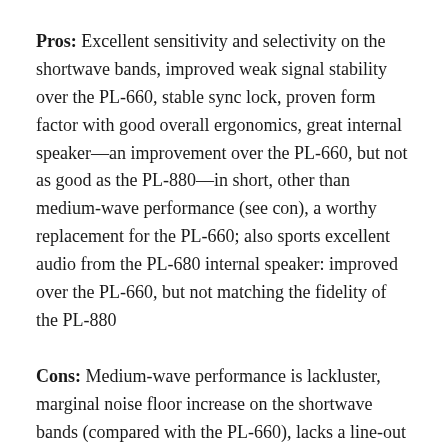Pros: Excellent sensitivity and selectivity on the shortwave bands, improved weak signal stability over the PL-660, stable sync lock, proven form factor with good overall ergonomics, great internal speaker––an improvement over the PL-660, but not as good as the PL-880––in short, other than medium-wave performance (see con), a worthy replacement for the PL-660; also sports excellent audio from the PL-680 internal speaker: improved over the PL-660, but not matching the fidelity of the PL-880
Cons: Medium-wave performance is lackluster, marginal noise floor increase on the shortwave bands (compared with the PL-660), lacks a line-out jack, SSB frequency display on my unit is + 1 kHz, so slight BFO adjustment is needed
Summary: If you're a shortwave radio listener, you'll be pleased with the Tecsun PL-680. In all of my comparison tests between the Tecsun PL-660 and Tecsun PL-680, the